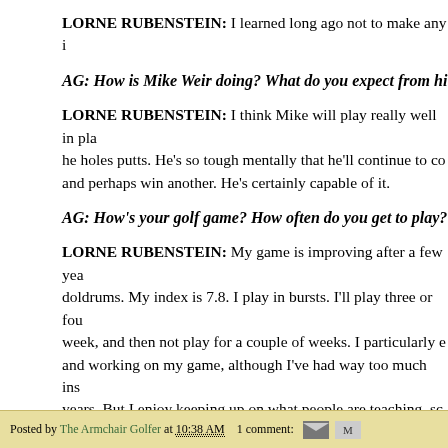LORNE RUBENSTEIN: I learned long ago not to make any i...
AG: How is Mike Weir doing? What do you expect from hi...
LORNE RUBENSTEIN: I think Mike will play really well in pla... he holes putts. He's so tough mentally that he'll continue to co... and perhaps win another. He's certainly capable of it.
AG: How's your golf game? How often do you get to play?
LORNE RUBENSTEIN: My game is improving after a few yea... doldrums. My index is 7.8. I play in bursts. I'll play three or fou... week, and then not play for a couple of weeks. I particularly e... and working on my game, although I've had way too much ins... years. But I enjoy keeping up on what people are teaching, sc... I've willingly accepted.
The Armchair Golfer
Posted by The Armchair Golfer at 10:38 AM   1 comment: